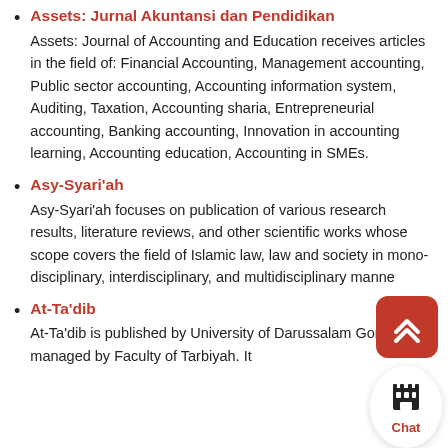Assets: Jurnal Akuntansi dan Pendidikan — Assets: Journal of Accounting and Education receives articles in the field of: Financial Accounting, Management accounting, Public sector accounting, Accounting information system, Auditing, Taxation, Accounting sharia, Entrepreneurial accounting, Banking accounting, Innovation in accounting learning, Accounting education, Accounting in SMEs.
Asy-Syari'ah — Asy-Syari'ah focuses on publication of various research results, literature reviews, and other scientific works whose scope covers the field of Islamic law, law and society in mono-disciplinary, interdisciplinary, and multidisciplinary manne
At-Ta'dib — At-Ta'dib is published by University of Darussalam Gontor and managed by Faculty of Tarbiyah. It